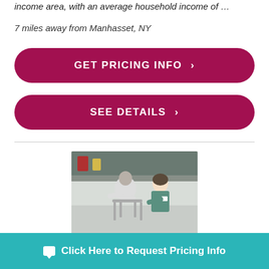income area, with an average household income of …
7 miles away from Manhasset, NY
GET PRICING INFO ›
SEE DETAILS ›
[Figure (photo): A nurse in green scrubs assisting an elderly male patient using a walker in a rehabilitation or care facility.]
Townhouse Center For Rehabilitation a…
7…
Click Here to Request Pricing Info